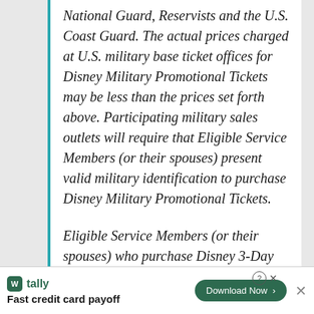National Guard, Reservists and the U.S. Coast Guard. The actual prices charged at U.S. military base ticket offices for Disney Military Promotional Tickets may be less than the prices set forth above. Participating military sales outlets will require that Eligible Service Members (or their spouses) present valid military identification to purchase Disney Military Promotional Tickets.
Eligible Service Members (or their spouses) who purchase Disney 3-Day Military